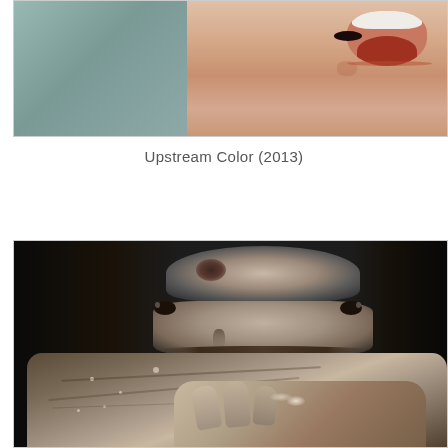[Figure (photo): Close-up color photograph showing a person's face from the nose up, with mouth open showing teeth and tongue, on a blurred background. Partial view cropped at top of page.]
Upstream Color (2013)
[Figure (photo): Black and white close-up photograph of a person's face peering over something they are gripping with their hands. The person has dark hair, a bruise or mark on their forehead, and intense eyes. Their hands grip a wet surface with visible water droplets.]